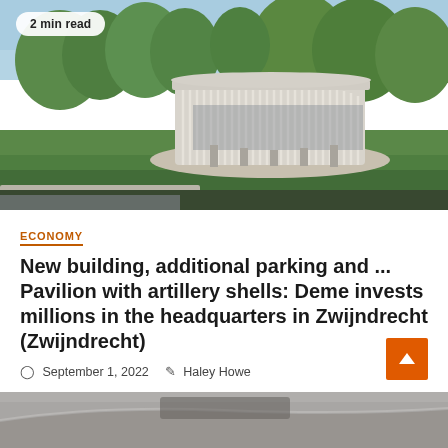[Figure (photo): Architectural rendering of a modern circular pavilion building with vertical white fins/louvers, surrounded by trees and green lawn, with a bridge or pathway in the foreground. Badge reading '2 min read' in upper left.]
ECONOMY
New building, additional parking and ... Pavilion with artillery shells: Deme invests millions in the headquarters in Zwijndrecht (Zwijndrecht)
September 1, 2022   Haley Howe
[Figure (photo): Partial view of a car interior dashboard, visible at the bottom of the page.]